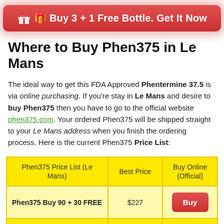[Figure (other): Red rounded button with gift icon: 'Buy 3 + 1 Free Bottle. Get It Now']
Where to Buy Phen375 in Le Mans
The ideal way to get this FDA Approved Phentermine 37.5 is via online purchasing. If you're stay in Le Mans and desire to buy Phen375 then you have to go to the official website phen375.com. Your ordered Phen375 will be shipped straight to your Le Mans address when you finish the ordering process. Here is the current Phen375 Price List:
| Phen375 Price List (Le Mans) | Best Price | Buy Online (Official) |
| --- | --- | --- |
| Phen375 Buy 90 + 30 FREE | $227 | Buy |